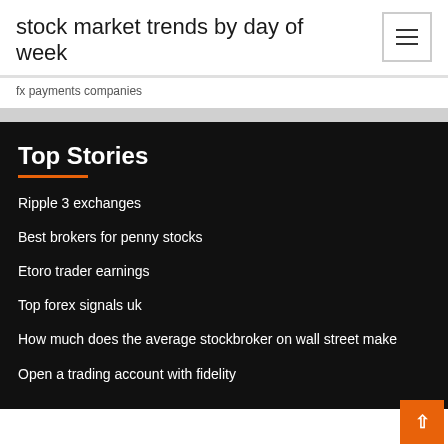stock market trends by day of week
fx payments companies
Top Stories
Ripple 3 exchanges
Best brokers for penny stocks
Etoro trader earnings
Top forex signals uk
How much does the average stockbroker on wall street make
Open a trading account with fidelity